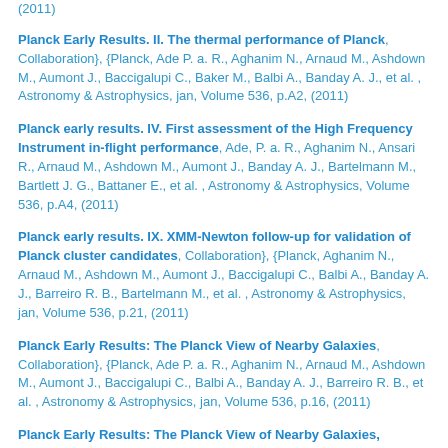(2011)
Planck Early Results. II. The thermal performance of Planck, Collaboration}, {Planck, Ade P. a. R., Aghanim N., Arnaud M., Ashdown M., Aumont J., Baccigalupi C., Baker M., Balbi A., Banday A. J., et al. , Astronomy & Astrophysics, jan, Volume 536, p.A2, (2011)
Planck early results. IV. First assessment of the High Frequency Instrument in-flight performance, Ade, P. a. R., Aghanim N., Ansari R., Arnaud M., Ashdown M., Aumont J., Banday A. J., Bartelmann M., Bartlett J. G., Battaner E., et al. , Astronomy & Astrophysics, Volume 536, p.A4, (2011)
Planck early results. IX. XMM-Newton follow-up for validation of Planck cluster candidates, Collaboration}, {Planck, Aghanim N., Arnaud M., Ashdown M., Aumont J., Baccigalupi C., Balbi A., Banday A. J., Barreiro R. B., Bartelmann M., et al. , Astronomy & Astrophysics, jan, Volume 536, p.21, (2011)
Planck Early Results: The Planck View of Nearby Galaxies, Collaboration}, {Planck, Ade P. a. R., Aghanim N., Arnaud M., Ashdown M., Aumont J., Baccigalupi C., Balbi A., Banday A. J., Barreiro R. B., et al. , Astronomy & Astrophysics, jan, Volume 536, p.16, (2011)
Planck Early Results: The Planck View of Nearby Galaxies,